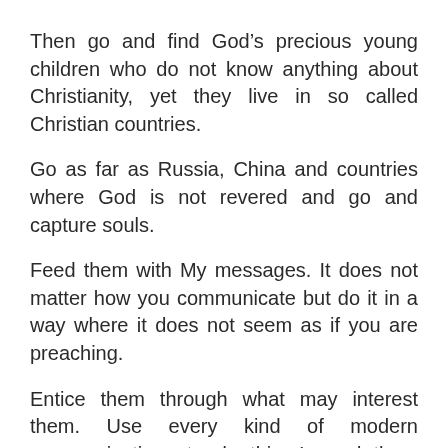Then go and find God’s precious young children who do not know anything about Christianity, yet they live in so called Christian countries.
Go as far as Russia, China and countries where God is not revered and go and capture souls.
Feed them with My messages. It does not matter how you communicate but do it in a way where it does not seem as if you are preaching.
Entice them through what may interest them. Use every kind of modern communications to do this. I need them quickly. I am relying on the spreading of My Word by all of My followers.
I will guide you.
You will know in your hearts what to do. Ask me to help you with this special Crusade Prayer to make you strong